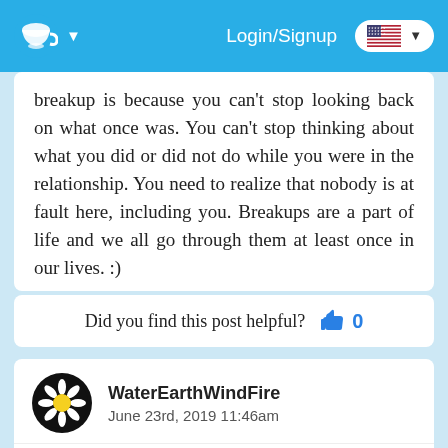Login/Signup
breakup is because you can't stop looking back on what once was. You can't stop thinking about what you did or did not do while you were in the relationship. You need to realize that nobody is at fault here, including you. Breakups are a part of life and we all go through them at least once in our lives. :)
Did you find this post helpful? 0
WaterEarthWindFire
June 23rd, 2019 11:46am
The reason for blaming ourselves often comes from insecurities and not being aware